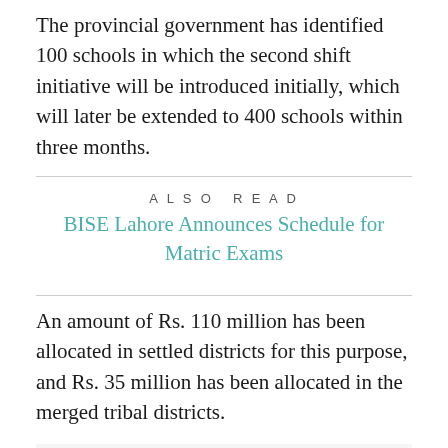The provincial government has identified 100 schools in which the second shift initiative will be introduced initially, which will later be extended to 400 schools within three months.
ALSO READ
BISE Lahore Announces Schedule for Matric Exams
An amount of Rs. 110 million has been allocated in settled districts for this purpose, and Rs. 35 million has been allocated in the merged tribal districts.
ALSO READ